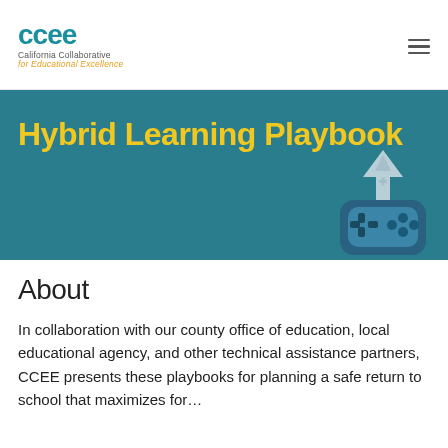ccee California Collaborative for Educational Excellence
Hybrid Learning Playbook
[Figure (illustration): A stylized game controller illustration with an upward arrow and geometric shapes, representing a playbook concept, rendered in blue and teal tones on a teal background.]
About
In collaboration with our county office of education, local educational agency, and other technical assistance partners, CCEE presents these playbooks for planning a safe return to school that maximizes for…